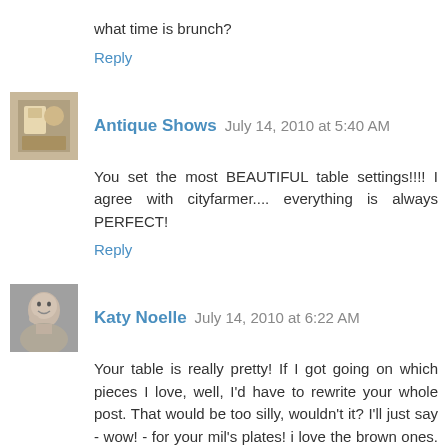what time is brunch?
Reply
Antique Shows  July 14, 2010 at 5:40 AM
You set the most BEAUTIFUL table settings!!!! I agree with cityfarmer.... everything is always PERFECT!
Reply
Katy Noelle  July 14, 2010 at 6:22 AM
Your table is really pretty! If I got going on which pieces I love, well, I'd have to rewrite your whole post. That would be too silly, wouldn't it? I'll just say - wow! - for your mil's plates! i love the brown ones. Your table is so organic and soothing because of it!
In your last post - I was just telling someone, on sunday, how i miss lizards. I think that the East Coast "lizard" is a chipmunk. The snakes, I could do without, however,